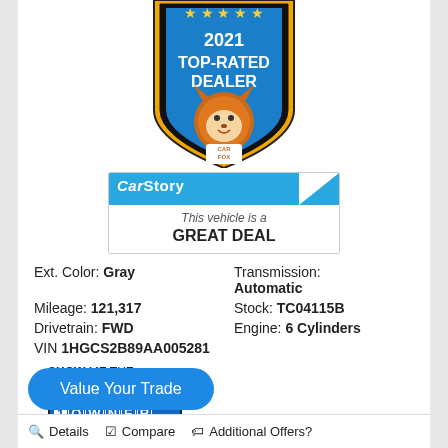[Figure (logo): 2021 Top-Rated Dealer badge with CarFox mascot in blue and orange shield shape]
[Figure (infographic): CarStory badge stating 'This vehicle is a GREAT DEAL']
Ext. Color: Gray
Transmission: Automatic
Mileage: 121,317
Stock: TC04115B
Drivetrain: FWD
Engine: 6 Cylinders
VIN 1HGCS2B89AA005281
[Figure (logo): Show Me The Carfax 1 Owner badge logo]
Value Your Trade
Details   Compare   Additional Offers?